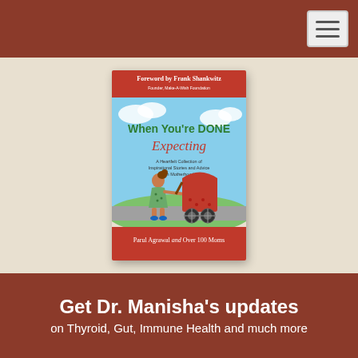[Figure (screenshot): Navigation bar with hamburger menu button on dark red background]
[Figure (photo): Book cover: 'When You're DONE Expecting - A Heartfelt Collection of Inspirational Stories and Advice on Motherhood' by Parul Agrawal and Over 100 Moms, Foreword by Frank Shankwitz, Founder, Make-A-Wish Foundation. Cover shows cartoon woman in green dress pushing a red baby carriage against a blue sky background.]
Get Dr. Manisha's updates
on Thyroid, Gut, Immune Health and much more